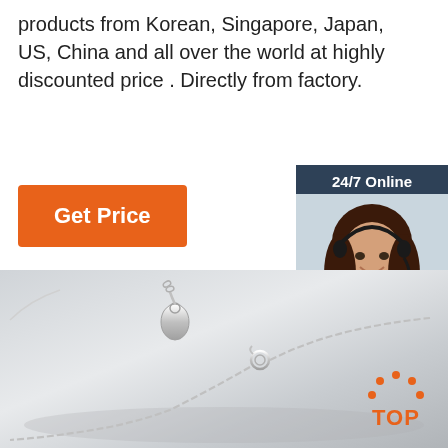products from Korean, Singapore, Japan, US, China and all over the world at highly discounted price . Directly from factory.
[Figure (illustration): Orange 'Get Price' button]
[Figure (illustration): 24/7 Online chat widget with customer service representative photo, 'Click here for free chat!' text, and orange QUOTATION button]
[Figure (photo): Silver chain bracelet/necklace on grey background with TOP badge logo in bottom right corner]